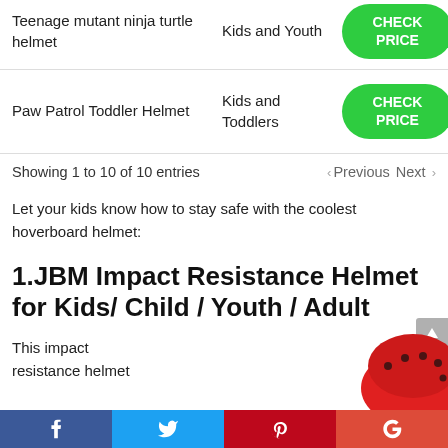| Product | Category |  |
| --- | --- | --- |
| Teenage mutant ninja turtle helmet | Kids and Youth | CHECK PRICE |
| Paw Patrol Toddler Helmet | Kids and Toddlers | CHECK PRICE |
Showing 1 to 10 of 10 entries
‹ Previous  Next ›
Let your kids know how to stay safe with the coolest hoverboard helmet:
1.JBM Impact Resistance Helmet for Kids/ Child / Youth / Adult
This impact resistance helmet